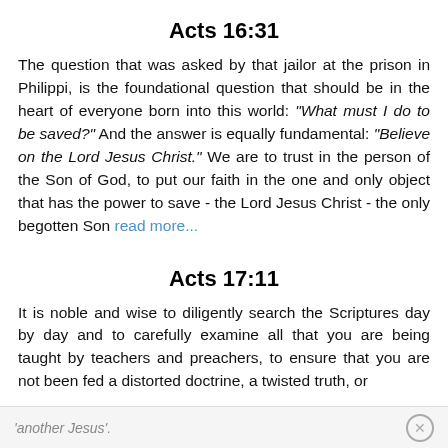Acts 16:31
The question that was asked by that jailor at the prison in Philippi, is the foundational question that should be in the heart of everyone born into this world: "What must I do to be saved?" And the answer is equally fundamental: "Believe on the Lord Jesus Christ." We are to trust in the person of the Son of God, to put our faith in the one and only object that has the power to save - the Lord Jesus Christ - the only begotten Son read more...
Acts 17:11
It is noble and wise to diligently search the Scriptures day by day and to carefully examine all that you are being taught by teachers and preachers, to ensure that you are not been fed a distorted doctrine, a twisted truth, or
'another Jesus'.